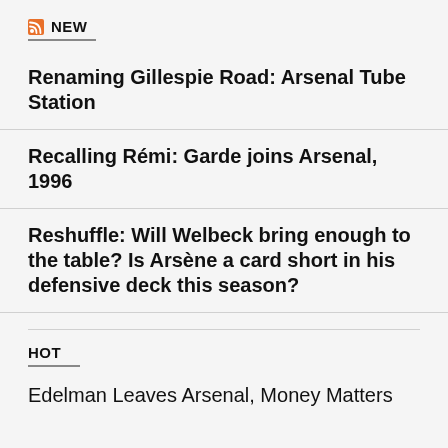NEW
Renaming Gillespie Road: Arsenal Tube Station
Recalling Rémi: Garde joins Arsenal, 1996
Reshuffle: Will Welbeck bring enough to the table? Is Arsène a card short in his defensive deck this season?
HOT
Edelman Leaves Arsenal, Money Matters